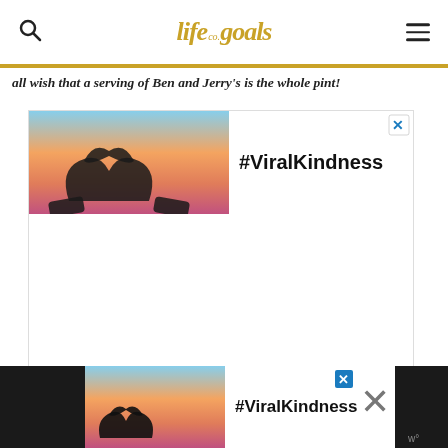life goals co. — site logo with search and menu icons
all wish that a serving of Ben and Jerry's is the whole pint!
[Figure (infographic): Advertisement banner with #ViralKindness text over a sunset image with hands forming a heart shape. Has a close (X) button in the top right corner.]
[Figure (infographic): Bottom advertisement banner on dark background with #ViralKindness text, sunset hands heart image, and close/X buttons on the right side.]